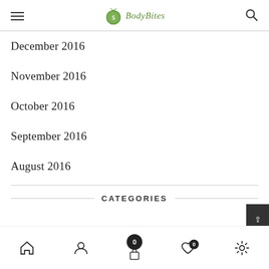BodyBites
December 2016
November 2016
October 2016
September 2016
August 2016
CATEGORIES
Home | Account | Cart (0) | Wishlist (0) | Settings